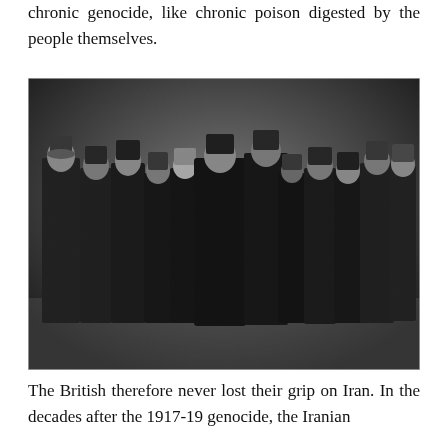chronic genocide, like chronic poison digested by the people themselves.
[Figure (photo): A black and white historical photograph showing a group of approximately 12 men standing together, most wearing dark military-style uniforms and fez or military caps, typical of early 20th century Ottoman or Iranian military/political figures.]
The British therefore never lost their grip on Iran. In the decades after the 1917-19 genocide, the Iranian